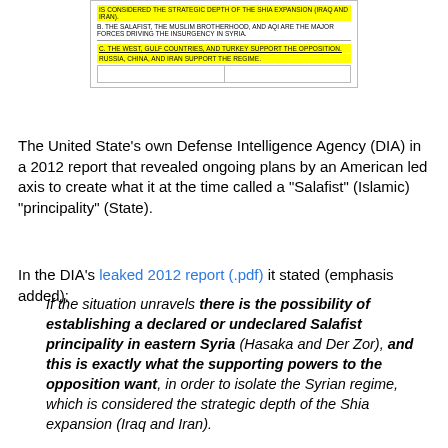[Figure (screenshot): Scanned DIA document excerpt with highlighted text. Row 1 (yellow highlight): 'IS CONSIDERED THE STRATEGIC DEPTH OF THE SHIA EXPANSION (IRAQ AND IRAN).' Row 2 (normal): 'B. THE SALAFIST, THE MUSLIM BROTHERHOOD, AND AQI ARE THE MAJOR FORCES DRIVING THE INSURGENCY IN SYRIA.' Row 3 (yellow highlight, underlined): 'C. THE WEST, GULF COUNTRIES, AND TURKEY SUPPORT THE OPPOSITION.' Row 4 (yellow highlight): 'RUSSIA, CHINA, AND IRAN SUPPORT THE REGIME.' Followed by a divider and two empty table cells.]
The United State's own Defense Intelligence Agency (DIA) in a 2012 report that revealed ongoing plans by an American led axis to create what it at the time called a "Salafist" (Islamic) "principality" (State).
In the DIA's leaked 2012 report (.pdf) it stated (emphasis added):
If the situation unravels there is the possibility of establishing a declared or undeclared Salafist principality in eastern Syria (Hasaka and Der Zor), and this is exactly what the supporting powers to the opposition want, in order to isolate the Syrian regime, which is considered the strategic depth of the Shia expansion (Iraq and Iran).